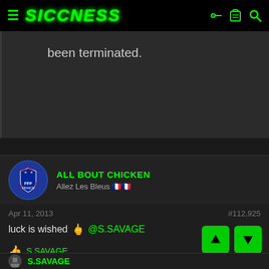SICCNESS
been terminated.
ALL BOUT CHICKEN
Allez Les Bleus 🇫🇷🇫🇷
Apr 11, 2013    #112,925
luck is wished 🤞 @S.SAVAGE
👍 S.SAVAGE
S.SAVAGE